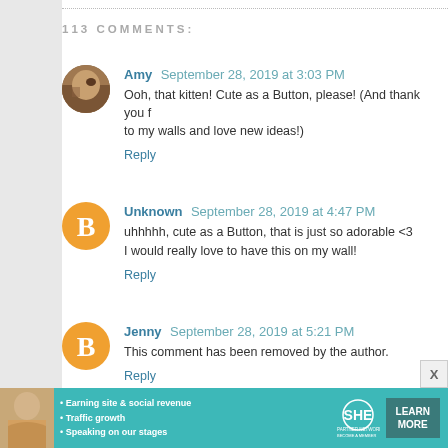113 COMMENTS:
Amy  September 28, 2019 at 3:03 PM
Ooh, that kitten! Cute as a Button, please! (And thank you f... to my walls and love new ideas!)
Reply
Unknown  September 28, 2019 at 4:47 PM
uhhhhh, cute as a Button, that is just so adorable <3
I would really love to have this on my wall!
Reply
Jenny  September 28, 2019 at 5:21 PM
This comment has been removed by the author.
Reply
[Figure (infographic): SHE Partner Network advertisement banner with photo of woman, bullets about earning site & social revenue, traffic growth, speaking on our stages, SHE logo, and LEARN MORE button]